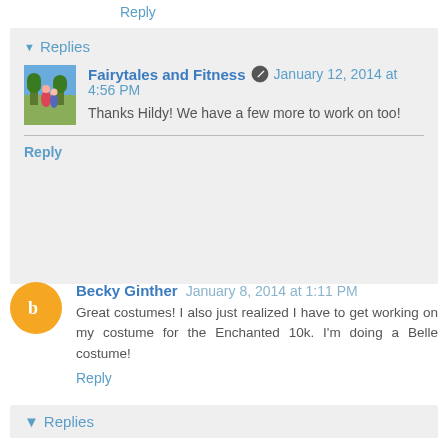Reply
Replies
Fairytales and Fitness  January 12, 2014 at 4:56 PM
Thanks Hildy! We have a few more to work on too!
Reply
Becky Ginther  January 8, 2014 at 1:11 PM
Great costumes! I also just realized I have to get working on my costume for the Enchanted 10k. I'm doing a Belle costume!
Reply
Replies